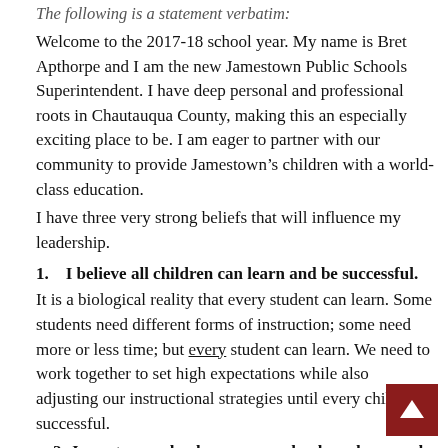The following is a statement verbatim:
Welcome to the 2017-18 school year. My name is Bret Apthorpe and I am the new Jamestown Public Schools Superintendent. I have deep personal and professional roots in Chautauqua County, making this an especially exciting place to be. I am eager to partner with our community to provide Jamestown’s children with a world-class education.
I have three very strong beliefs that will influence my leadership.
1.   I believe all children can learn and be successful.
It is a biological reality that every student can learn. Some students need different forms of instruction; some need more or less time; but every student can learn. We need to work together to set high expectations while also adjusting our instructional strategies until every child is successful.
2. Jamestown schools are your schools and we need your involvement.
Your involvement with our children’s education is absolutely critical to their success. As family members, it can be reading with your ch… keeping video/computer time to a healthy minimum; volunteering… classroom; attending school functions or partnering with your child’s